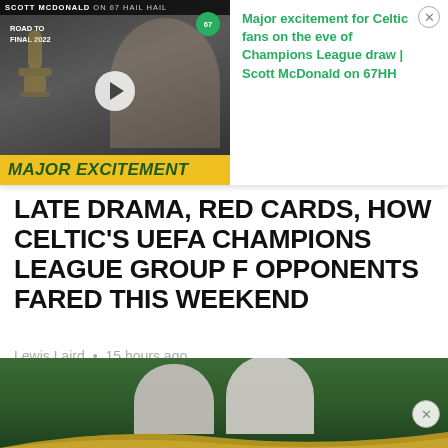[Figure (screenshot): Video thumbnail showing Champions League trophy and Scott McDonald smiling, with 'ROAD TO FINAL 2022' text and 'MAJOR EXCITEMENT' yellow banner, and a green '67' badge. Play button overlay visible.]
Major excitement for Celtic fans on the eve of Champions League draw | Scott McDonald on 67HH
LATE DRAMA, RED CARDS, HOW CELTIC'S UEFA CHAMPIONS LEAGUE GROUP F OPPONENTS FARED THIS WEEKEND
Lewis Laird • 15 hours ago
READ MORE →
[Figure (photo): Bottom strip showing two people standing on a football pitch with green grass, partially visible, with a gold/yellow wave graphic overlay at bottom.]